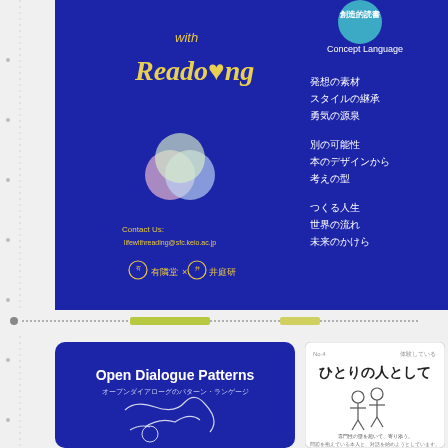[Figure (illustration): Top blue panel showing a book cover with 'with Reading' text in yellow handwritten font, three overlapping circles (pink, blue, yellow), contact info, and logos for 有隣堂 and 井庭研]
創造的読書
Concept Language

発想の素材
スタイルの継承
勇気の源泉

別の可能性
本のデザインから
考えの型

つくる人生
世界の流れ
未来のかけら
[Figure (illustration): Progress/loading bar row with dots and colored segments]
[Figure (illustration): Blue book cover for 'Open Dialogue Patterns' with Japanese subtitle オープンダイアローグのパターン・ランゲージ and abstract line drawing]
[Figure (illustration): White card showing 'ひとりの人として' with simple line drawing of two figures and Japanese text]